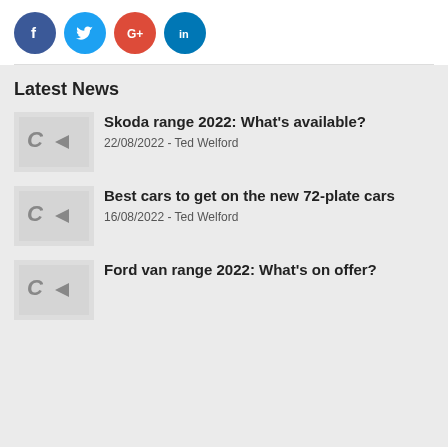[Figure (infographic): Row of four social media icon buttons: Facebook (dark blue circle with 'f'), Twitter (light blue circle with bird icon), Google+ (red circle with 'G+'), LinkedIn (teal circle with 'in')]
Latest News
[Figure (logo): Car Keys logo placeholder thumbnail]
Skoda range 2022: What's available?
22/08/2022 - Ted Welford
[Figure (logo): Car Keys logo placeholder thumbnail]
Best cars to get on the new 72-plate cars
16/08/2022 - Ted Welford
[Figure (logo): Car Keys logo placeholder thumbnail (partially visible)]
Ford van range 2022: What's on offer?